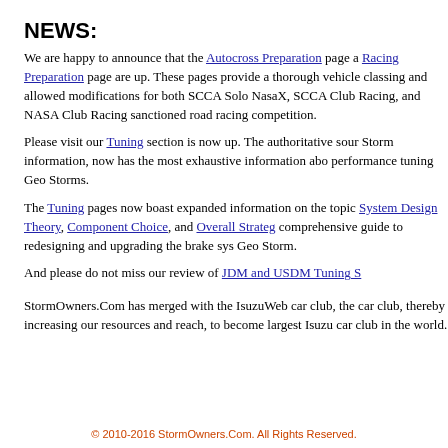NEWS:
We are happy to announce that the Autocross Preparation page a Racing Preparation page are up. These pages provide a thorough vehicle classing and allowed modifications for both SCCA Solo NasaX, SCCA Club Racing, and NASA Club Racing sanctioned road racing competition.
Please visit our Tuning section is now up. The authoritative sour Storm information, now has the most exhaustive information abo performance tuning Geo Storms.
The Tuning pages now boast expanded information on the topic System Design Theory, Component Choice, and Overall Strateg comprehensive guide to redesigning and upgrading the brake sys Geo Storm.
And please do not miss our review of JDM and USDM Tuning S
StormOwners.Com has merged with the IsuzuWeb car club, the car club, thereby increasing our resources and reach, to become largest Isuzu car club in the world.
© 2010-2016 StormOwners.Com. All Rights Reserved.